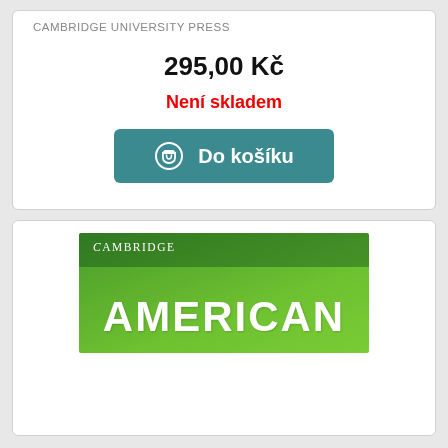CAMBRIDGE UNIVERSITY PRESS
295,00 Kč
Není skladem
Do košíku
[Figure (illustration): Cambridge American book cover banner with green gradient background, 'Cambridge' text at top left in white serif font, and 'AMERICAN' in large bold white letters]